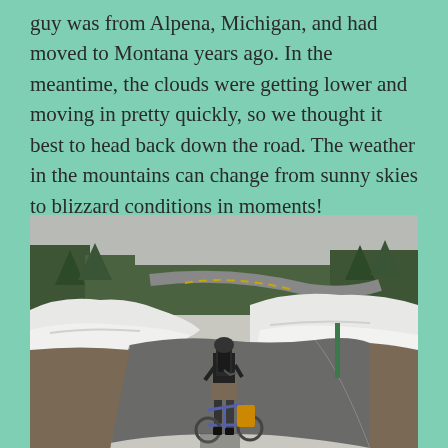guy was from Alpena, Michigan, and had moved to Montana years ago. In the meantime, the clouds were getting lower and moving in pretty quickly, so we thought it best to head back down the road. The weather in the mountains can change from sunny skies to blizzard conditions in moments!
[Figure (photo): A person walking a loaded bicycle up a wet mountain road surrounded by large snowbanks on both sides, with evergreen trees and a winding road visible in the background.]